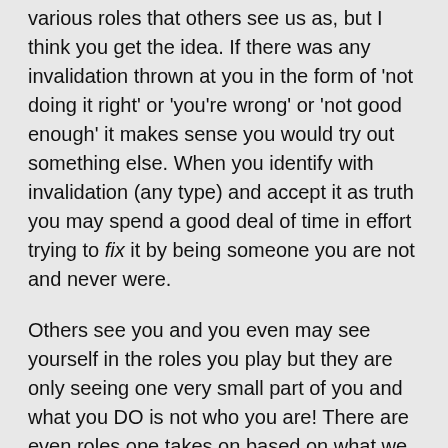various roles that others see us as, but I think you get the idea. If there was any invalidation thrown at you in the form of 'not doing it right' or 'you're wrong' or 'not good enough' it makes sense you would try out something else. When you identify with invalidation (any type) and accept it as truth you may spend a good deal of time in effort trying to fix it by being someone you are not and never were.
Others see you and you even may see yourself in the roles you play but they are only seeing one very small part of you and what you DO is not who you are! There are even roles one takes on based on what we THINK they should be, how we should act (ect.) or we become the person we think someone else wants us to be. We create a picture in our minds then emulate and bring that picture to life. Having an identity crisis is when you falsely identify yourself with a particular role or are living by someone else's